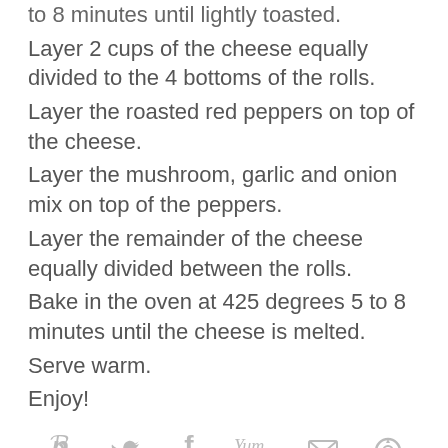to 8 minutes until lightly toasted.
Layer 2 cups of the cheese equally divided to the 4 bottoms of the rolls.
Layer the roasted red peppers on top of the cheese.
Layer the mushroom, garlic and onion mix on top of the peppers.
Layer the remainder of the cheese equally divided between the rolls.
Bake in the oven at 425 degrees 5 to 8 minutes until the cheese is melted.
Serve warm.
Enjoy!
[Figure (infographic): Social sharing icons row: Pinterest (76), Twitter, Facebook (5), Yummly (5), Email, other icon]